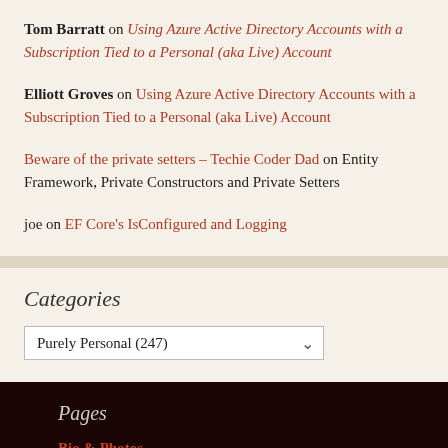Tom Barratt on Using Azure Active Directory Accounts with a Subscription Tied to a Personal (aka Live) Account
Elliott Groves on Using Azure Active Directory Accounts with a Subscription Tied to a Personal (aka Live) Account
Beware of the private setters – Techie Coder Dad on Entity Framework, Private Constructors and Private Setters
joe on EF Core's IsConfigured and Logging
Categories
Purely Personal (247)
Pages
Bio & Photos